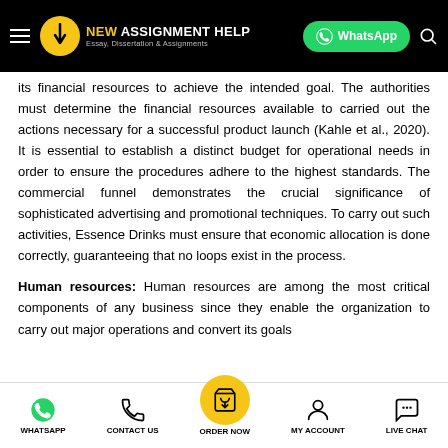NEW ASSIGNMENT HELP — Essay, Dissertation & Assignments
its financial resources to achieve the intended goal. The authorities must determine the financial resources available to carried out the actions necessary for a successful product launch (Kahle et al., 2020). It is essential to establish a distinct budget for operational needs in order to ensure the procedures adhere to the highest standards. The commercial funnel demonstrates the crucial significance of sophisticated advertising and promotional techniques. To carry out such activities, Essence Drinks must ensure that economic allocation is done correctly, guaranteeing that no loops exist in the process.
Human resources: Human resources are among the most critical components of any business since they enable the organization to carry out major operations and convert its goals
WHATSAPP   CONTACT US   ORDER NOW   MY ACCOUNT   LIVE CHAT